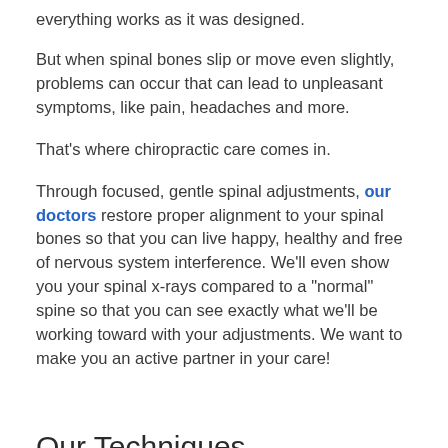everything works as it was designed.
But when spinal bones slip or move even slightly, problems can occur that can lead to unpleasant symptoms, like pain, headaches and more.
That’s where chiropractic care comes in.
Through focused, gentle spinal adjustments, our doctors restore proper alignment to your spinal bones so that you can live happy, healthy and free of nervous system interference. We’ll even show you your spinal x-rays compared to a “normal” spine so that you can see exactly what we’ll be working toward with your adjustments. We want to make you an active partner in your care!
Our Techniques